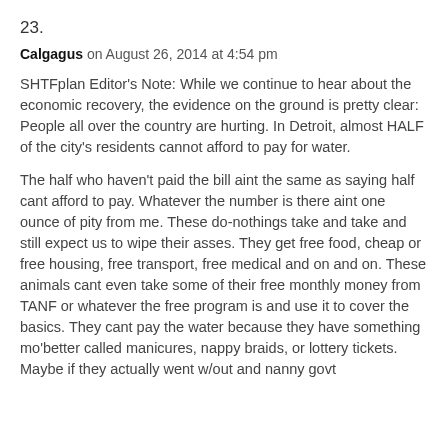23.
Calgagus on August 26, 2014 at 4:54 pm
SHTFplan Editor’s Note: While we continue to hear about the economic recovery, the evidence on the ground is pretty clear: People all over the country are hurting. In Detroit, almost HALF of the city’s residents cannot afford to pay for water.
The half who haven’t paid the bill aint the same as saying half cant afford to pay. Whatever the number is there aint one ounce of pity from me. These do-nothings take and take and still expect us to wipe their asses. They get free food, cheap or free housing, free transport, free medical and on and on. These animals cant even take some of their free monthly money from TANF or whatever the free program is and use it to cover the basics. They cant pay the water because they have something mo’better called manicures, nappy braids, or lottery tickets.
Maybe if they actually went w/out and nanny govt